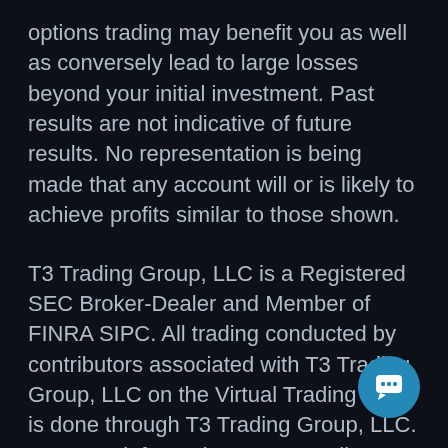options trading may benefit you as well as conversely lead to large losses beyond your initial investment. Past results are not indicative of future results. No representation is being made that any account will or is likely to achieve profits similar to those shown.
T3 Trading Group, LLC is a Registered SEC Broker-Dealer and Member of FINRA SIPC. All trading conducted by contributors associated with T3 Trading Group, LLC on the Virtual Trading Floor is done through T3 Trading Group, LLC. For more information on T3 Trading Group, LLC please visit www.T3Trading.com.
[Figure (other): Teal circular chat button icon in bottom-right corner]